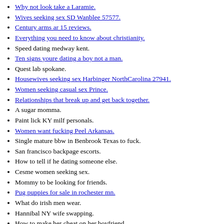Why not look take a Laramie.
Wives seeking sex SD Wanblee 57577.
Century arms ar 15 reviews.
Everything you need to know about christianity.
Speed dating medway kent.
Ten signs youre dating a boy not a man.
Quest lab spokane.
Housewives seeking sex Harbinger NorthCarolina 27941.
Women seeking casual sex Prince.
Relationships that break up and get back together.
A sugar momma.
Paint lick KY milf personals.
Women want fucking Peel Arkansas.
Single mature bbw in Benbrook Texas to fuck.
San francisco backpage escorts.
How to tell if he dating someone else.
Cesme women seeking sex.
Mommy to be looking for friends.
Pug puppies for sale in rochester mn.
What do irish men wear.
Hannibal NY wife swapping.
How to make her cheat on her boyfriend.
Sex mesage New Zealand.
Horny women in Somerset, OH.
The unwritten rules of dating.